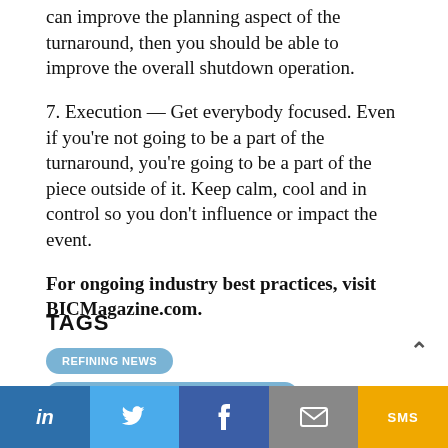can improve the planning aspect of the turnaround, then you should be able to improve the overall shutdown operation.
7. Execution — Get everybody focused. Even if you're not going to be a part of the turnaround, you're going to be a part of the piece outside of it. Keep calm, cool and in control so you don't influence or impact the event.
For ongoing industry best practices, visit BICMagazine.com.
TAGS
REFINING NEWS
PLANT MANAGEMENT & OPERATIONS
MAINTENANCE & RELIABILITY
LinkedIn | Twitter | Facebook | Email | SMS